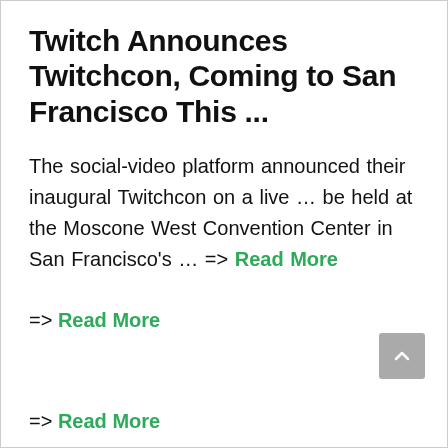Twitch Announces Twitchcon, Coming to San Francisco This ...
The social-video platform announced their inaugural Twitchcon on a live … be held at the Moscone West Convention Center in San Francisco's … => Read More
=> Read More
=> Read More